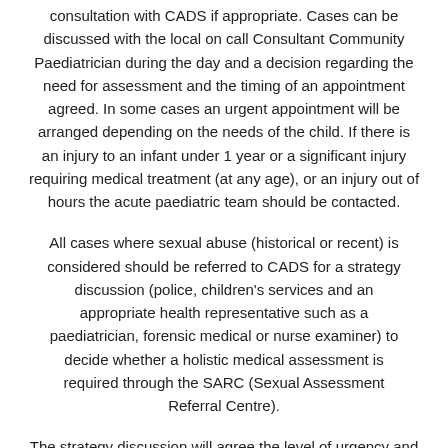consultation with CADS if appropriate. Cases can be discussed with the local on call Consultant Community Paediatrician during the day and a decision regarding the need for assessment and the timing of an appointment agreed. In some cases an urgent appointment will be arranged depending on the needs of the child. If there is an injury to an infant under 1 year or a significant injury requiring medical treatment (at any age), or an injury out of hours the acute paediatric team should be contacted.
All cases where sexual abuse (historical or recent) is considered should be referred to CADS for a strategy discussion (police, children's services and an appropriate health representative such as a paediatrician, forensic medical or nurse examiner) to decide whether a holistic medical assessment is required through the SARC (Sexual Assessment Referral Centre).
The strategy discussion will agree the level of urgency and timing of the appointment. A decision regarding medical examination will usually be done after the 'Achieving Best Evidence' interview for all children under 13 and